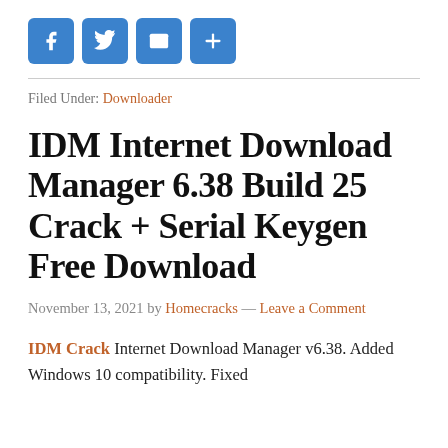[Figure (infographic): Four social sharing icon buttons: Facebook (f), Twitter (bird), Email (envelope), and Share (+), all in blue rounded squares]
Filed Under: Downloader
IDM Internet Download Manager 6.38 Build 25 Crack + Serial Keygen Free Download
November 13, 2021 by Homecracks — Leave a Comment
IDM Crack Internet Download Manager v6.38. Added Windows 10 compatibility. Fixed